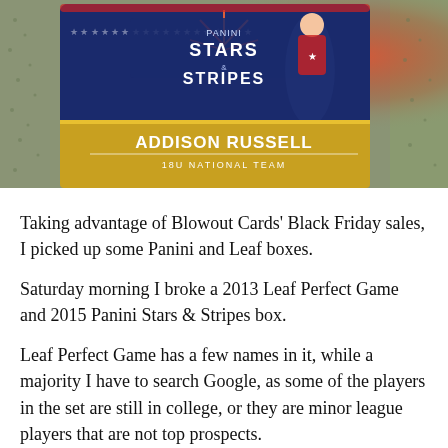[Figure (photo): A Panini Stars & Stripes baseball card for Addison Russell (18U National Team) lying on a carpet/textured surface with fireworks in the background on the card.]
Taking advantage of Blowout Cards' Black Friday sales, I picked up some Panini and Leaf boxes.
Saturday morning I broke a 2013 Leaf Perfect Game and 2015 Panini Stars & Stripes box.
Leaf Perfect Game has a few names in it, while a majority I have to search Google, as some of the players in the set are still in college, or they are minor league players that are not top prospects.
There are some top prospects, and I was happy to pull